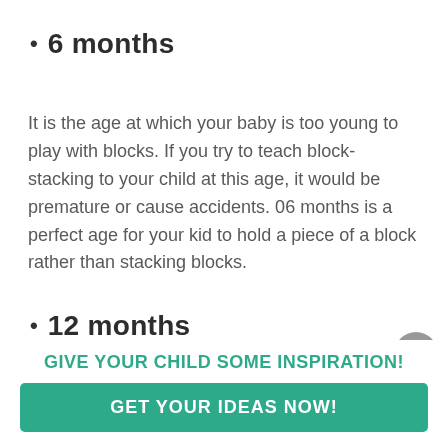6 months
It is the age at which your baby is too young to play with blocks. If you try to teach block-stacking to your child at this age, it would be premature or cause accidents. 06 months is a perfect age for your kid to hold a piece of a block rather than stacking blocks.
12 months
At this age...
GIVE YOUR CHILD SOME INSPIRATION!
GET YOUR IDEAS NOW!